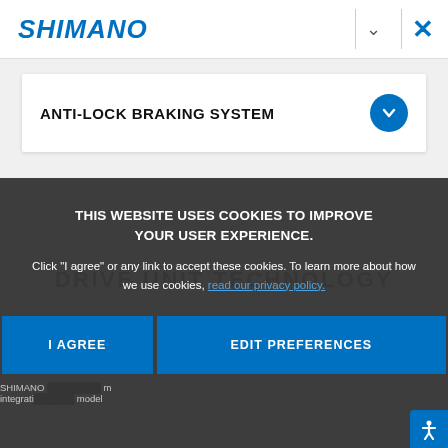SHIMANO
ANTI-LOCK BRAKING SYSTEM
[Figure (screenshot): Drive unit technology section partially visible behind cookie overlay]
THIS WEBSITE USES COOKIES TO IMPROVE YOUR USER EXPERIENCE. Click "I agree" or any link to accept these cookies. To learn more about how we use cookies, read our privacy policy.
I AGREE
EDIT PREFERENCES
SHIMANO ... integration ... model ...